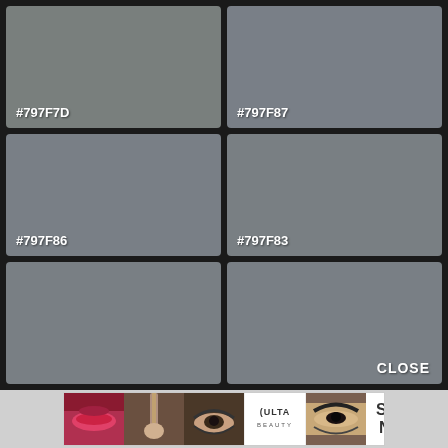[Figure (other): Color swatch grid showing 6 similar gray color swatches with hex codes. Top row: #797F7D (left), #797F87 (right). Middle row: #797F86 (left), #797F83 (right). Bottom row: two unlabeled gray swatches with a CLOSE button on bottom right.]
[Figure (infographic): ULTA Beauty advertisement banner with makeup photos and SHOP NOW button]